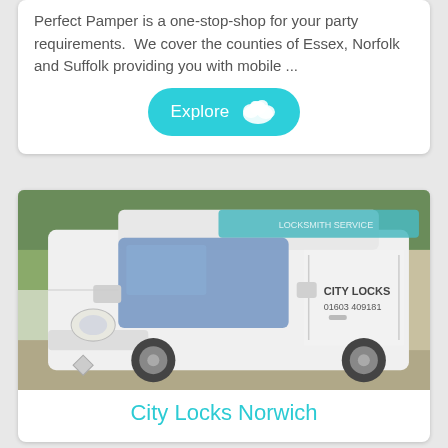Perfect Pamper is a one-stop-shop for your party requirements.  We cover the counties of Essex, Norfolk and Suffolk providing you with mobile ...
[Figure (other): Cyan 'Explore' button with white cloud/splat icon on cyan rounded rectangle background]
[Figure (photo): White Renault van with 'CITY LOCKS 01603 409181' text on the side, parked in a car park with trees in the background]
City Locks Norwich